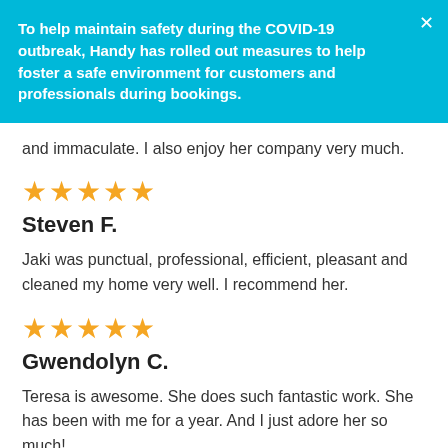To help maintain safety during the COVID-19 outbreak, Handy has rolled out measures to help foster a safe environment for customers and professionals during bookings.
and immaculate. I also enjoy her company very much.
[Figure (other): Five gold star rating icons]
Steven F.
Jaki was punctual, professional, efficient, pleasant and cleaned my home very well. I recommend her.
[Figure (other): Five gold star rating icons]
Gwendolyn C.
Teresa is awesome. She does such fantastic work. She has been with me for a year. And I just adore her so much!